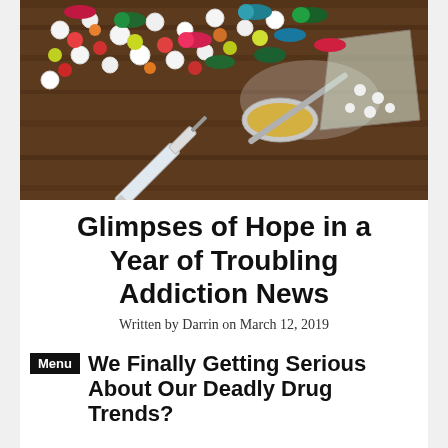[Figure (photo): A photo of various colorful pills, capsules, a metal spoon, a syringe, and a small plastic bag with white powder/pills scattered on a dark wooden surface — drug paraphernalia.]
Glimpses of Hope in a Year of Troubling Addiction News
Written by Darrin on March 12, 2019
We Finally Getting Serious About Our Deadly Drug Trends?